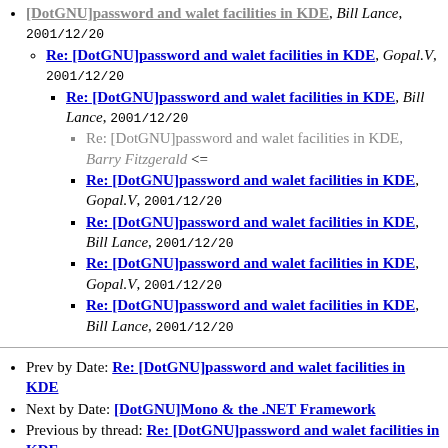[DotGNU]password and walet facilities in KDE, Bill Lance, 2001/12/20
Re: [DotGNU]password and walet facilities in KDE, Gopal.V, 2001/12/20
Re: [DotGNU]password and walet facilities in KDE, Bill Lance, 2001/12/20
Re: [DotGNU]password and walet facilities in KDE, Barry Fitzgerald <=
Re: [DotGNU]password and walet facilities in KDE, Gopal.V, 2001/12/20
Re: [DotGNU]password and walet facilities in KDE, Bill Lance, 2001/12/20
Re: [DotGNU]password and walet facilities in KDE, Gopal.V, 2001/12/20
Re: [DotGNU]password and walet facilities in KDE, Bill Lance, 2001/12/20
Prev by Date: Re: [DotGNU]password and walet facilities in KDE
Next by Date: [DotGNU]Mono & the .NET Framework
Previous by thread: Re: [DotGNU]password and walet facilities in KDE
Next by thread: Re: [DotGNU]password and walet facilities in KDE